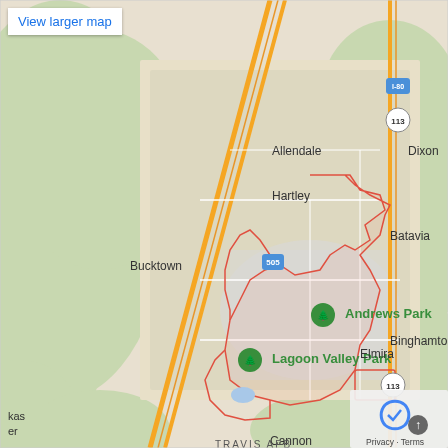[Figure (map): Google Maps screenshot showing Vacaville, California area with surrounding communities including Allendale, Hartley, Bucktown, Andrews Park, Lagoon Valley Park, Elmira, Batavia, Dixon, Binghamton, Cannon, and Travis AFB. Major roads shown include I-80, Highway 113, and Highway 505. The city boundary of Vacaville is outlined in red.]
View larger map
Privacy · Terms